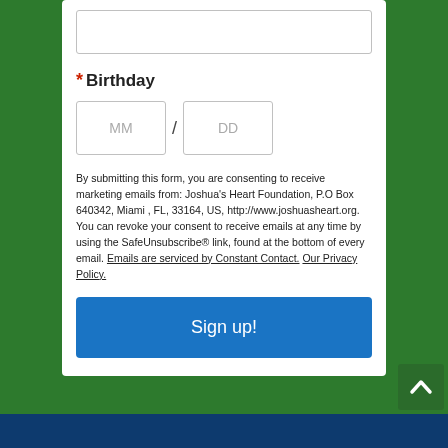[Figure (other): Text input field (empty, bordered rectangle)]
* Birthday
[Figure (other): Birthday date input fields: MM / DD]
By submitting this form, you are consenting to receive marketing emails from: Joshua's Heart Foundation, P.O Box 640342, Miami , FL, 33164, US, http://www.joshuasheart.org. You can revoke your consent to receive emails at any time by using the SafeUnsubscribe® link, found at the bottom of every email. Emails are serviced by Constant Contact. Our Privacy Policy.
[Figure (other): Sign up! button — blue rectangle with white text]
[Figure (other): Dark blue footer bar at bottom of page]
[Figure (other): Back to top green button with upward chevron icon, bottom right]